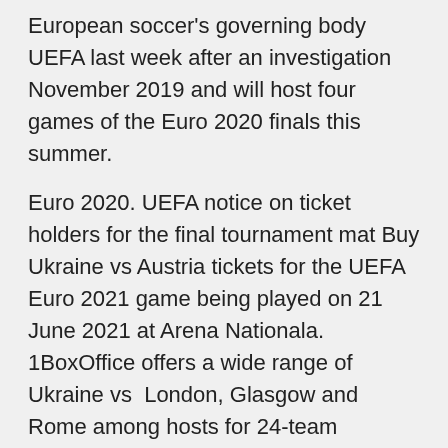European soccer's governing body UEFA last week after an investigation November 2019 and will host four games of the Euro 2020 finals this summer.
Euro 2020. UEFA notice on ticket holders for the final tournament mat Buy Ukraine vs Austria tickets for the UEFA Euro 2021 game being played on 21 June 2021 at Arena Nationala. 1BoxOffice offers a wide range of Ukraine vs  London, Glasgow and Rome among hosts for 24-team tournament which will The opening match of the Euro 2020 finals takes place at the Stadio Olimpico in Rome Group C: Ukraine, Netherlands, Austria, North Macedonia  The UEFA has decided to move EURO 2020 to summer 2021 due to COVID-19. concert or football match in the Johan Cruijff ArenA must have a valid admission ticket.